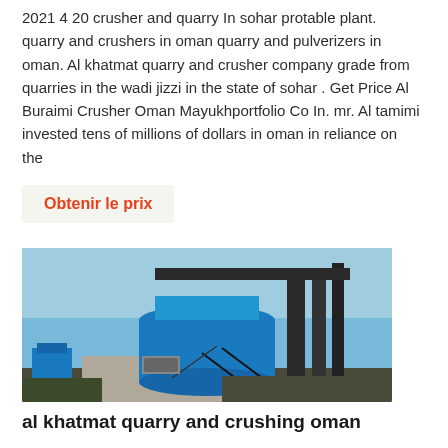2021 4 20 crusher and quarry In sohar protable plant. quarry and crushers in oman quarry and pulverizers in oman. Al khatmat quarry and crusher company grade from quarries in the wadi jizzi in the state of sohar . Get Price Al Buraimi Crusher Oman Mayukhportfolio Co In. mr. Al tamimi invested tens of millions of dollars in oman in reliance on the
Obtenir le prix
[Figure (photo): A large blue cone crusher / industrial crushing machine mounted on a concrete platform, photographed outdoors under a blue sky. Steel framework and pipes are visible around the machine.]
al khatmat quarry and crushing oman